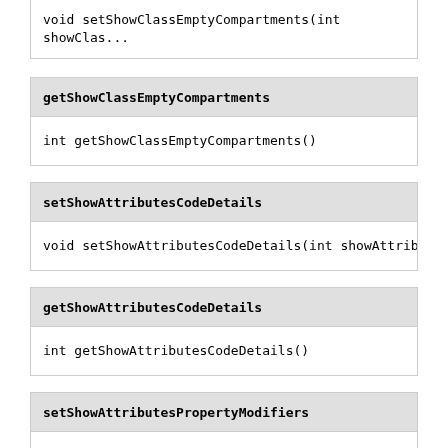void setShowClassEmptyCompartments(int showClass...
getShowClassEmptyCompartments
int getShowClassEmptyCompartments()
setShowAttributesCodeDetails
void setShowAttributesCodeDetails(int showAttribu...
getShowAttributesCodeDetails
int getShowAttributesCodeDetails()
setShowAttributesPropertyModifiers
void setShowAttributesPropertyModifiers(int showA...